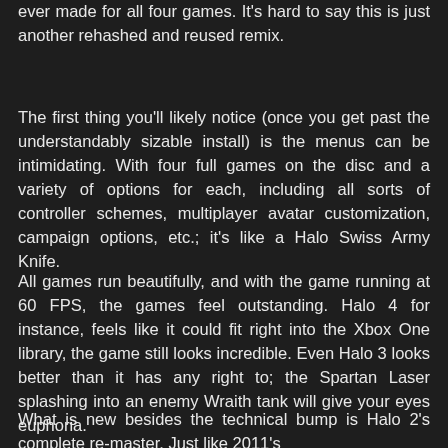ever made for all four games. It's hard to say this is just another rehashed and reused remix.
The first thing you'll likely notice (once you get past the understandably sizable install) is the menus can be intimidating. With four full games on the disc and a variety of options for each, including all sorts of controller schemes, multiplayer avatar customization, campaign options, etc.; it's like a Halo Swiss Army Knife.
All games run beautifully, and with the game running at 60 FPS, the games feel outstanding. Halo 4 for instance, feels like it could fit right into the Xbox One library, the game still looks incredible. Even Halo 3 looks better than it has any right to; the Spartan Laser splashing into an enemy Wraith tank will give your eyes euphoria.
What is new besides the technical bump is Halo 2's complete re-master. Just like 2011's